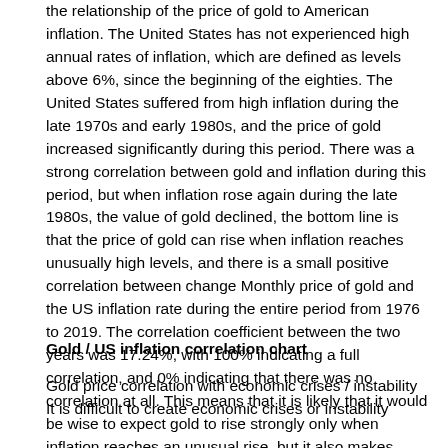the relationship of the price of gold to American inflation. The United States has not experienced high annual rates of inflation, which are defined as levels above 6%, since the beginning of the eighties. The United States suffered from high inflation during the late 1970s and early 1980s, and the price of gold increased significantly during this period. There was a strong correlation between gold and inflation during this period, but when inflation rose again during the late 1980s, the value of gold declined, the bottom line is that the price of gold can rise when inflation reaches unusually high levels, and there is a small positive correlation between change Monthly price of gold and the US inflation rate during the entire period from 1976 to 2019. The correlation coefficient between the two years was 17.24%, with 100% indicating a full correlation, and 0% indicating that there was no correlation at all. This means that it is likely that it would be wise to expect gold to rise strongly only when inflation reaches an unusual rise, but it also makes sense that there will be an increase in the price of gold when inflation rises and a decline when inflation falls.
Gold / US inflation correlation chart
Gold price correlation with economic crises / instability
It is difficult to create economic crises or instability